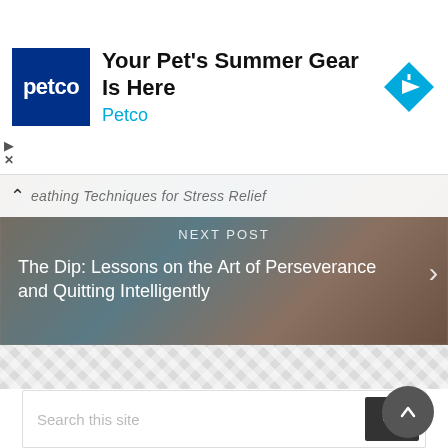[Figure (screenshot): Petco advertisement banner with dark blue logo, headline 'Your Pet's Summer Gear Is Here', brand name 'Petco' in cyan, and a blue diamond direction icon on the right.]
[Figure (screenshot): Navigation section showing a previous post bar with caret and partially visible text 'eathing Techniques for Stress Relief', overlaid on a blurred background image with 'NEXT POST' label and title 'The Dip: Lessons on the Art of Perseverance and Quitting Intelligently' with a right-chevron arrow.]
[Figure (screenshot): Decorative geometric diamond/chevron pattern divider in light grey.]
[Figure (screenshot): Search bar with placeholder text 'Search this site' and a dark search button with magnifying glass icon.]
Recent Posts
How to find 'me time' at home